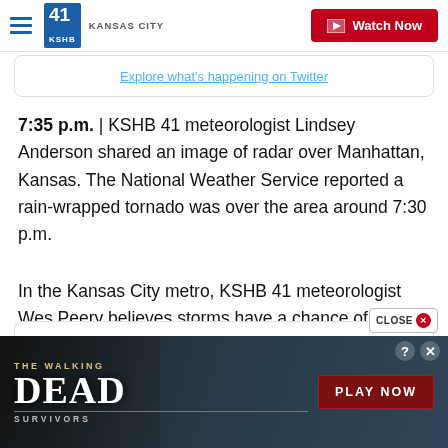41 KSHB KANSAS CITY | Watch Now
[Figure (screenshot): Partial Twitter embed showing 'Explore what's happening on Twitter']
7:35 p.m. | KSHB 41 meteorologist Lindsey Anderson shared an image of radar over Manhattan, Kansas. The National Weather Service reported a rain-wrapped tornado was over the area around 7:30 p.m.
In the Kansas City metro, KSHB 41 meteorologist Wes Peery believes storms have a chance of missing the area. If they do make it to the metro, the arrival time looks to be between 9-10 p.m.
[Figure (screenshot): Advertisement banner for 'The Walking Dead Survivors' game with PLAY NOW button]